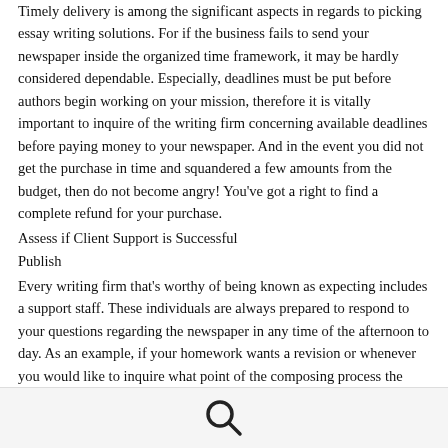Timely delivery is among the significant aspects in regards to picking essay writing solutions. For if the business fails to send your newspaper inside the organized time framework, it may be hardly considered dependable. Especially, deadlines must be put before authors begin working on your mission, therefore it is vitally important to inquire of the writing firm concerning available deadlines before paying money to your newspaper. And in the event you did not get the purchase in time and squandered a few amounts from the budget, then do not become angry! You've got a right to find a complete refund for your purchase.
Assess if Client Support is Successful
Publish
Every writing firm that's worthy of being known as expecting includes a support staff. These individuals are always prepared to respond to your questions regarding the newspaper in any time of the afternoon to day. As an example, if your homework wants a revision or whenever you would like to inquire what point of the composing process the author is, this really is when service must react immediately. Otherwise, there is no opportunity for successful communication, which means that your newspaper could wind up being of premium quality instead of top notch and initial.
[Figure (other): Search icon (magnifying glass) in a light gray footer bar]